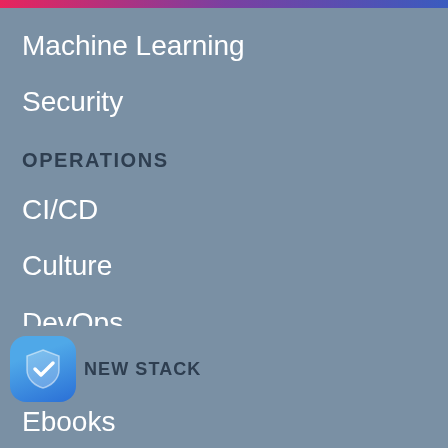Machine Learning
Security
OPERATIONS
CI/CD
Culture
DevOps
Kubernetes
Monitoring
Service Mesh
Tools
NEW STACK  Ebooks